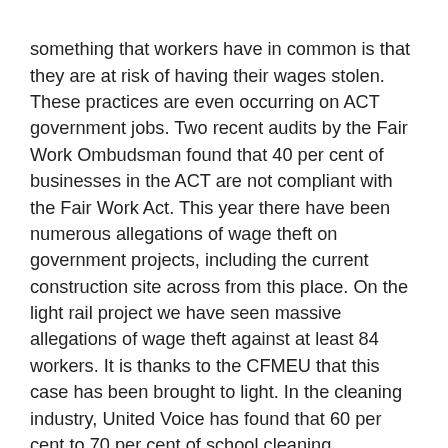something that workers have in common is that they are at risk of having their wages stolen. These practices are even occurring on ACT government jobs. Two recent audits by the Fair Work Ombudsman found that 40 per cent of businesses in the ACT are not compliant with the Fair Work Act. This year there have been numerous allegations of wage theft on government projects, including the current construction site across from this place. On the light rail project we have seen massive allegations of wage theft against at least 84 workers. It is thanks to the CFMEU that this case has been brought to light. In the cleaning industry, United Voice has found that 60 per cent to 70 per cent of school cleaning contractors are conducting themselves unlawfully and incorrectly paying their employees. This is disgraceful.
It is clear that there are companies in Canberra who do not respect the law and do not respect their workers. At first the